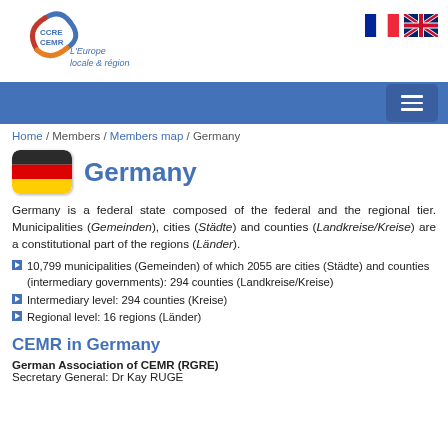[Figure (logo): CCRE CEMR logo with tagline L'Europe locale & régionale and French/UK flag icons]
[Figure (other): Blue navigation bar with hamburger menu button]
Home / Members / Members map / Germany
Germany
Germany is a federal state composed of the federal and the regional tier. Municipalities (Gemeinden), cities (Städte) and counties (Landkreise/Kreise) are a constitutional part of the regions (Länder).
10,799 municipalities (Gemeinden) of which 2055 are cities (Städte) and counties (intermediary governments): 294 counties (Landkreise/Kreise)
Intermediary level: 294 counties (Kreise)
Regional level: 16 regions (Länder)
CEMR in Germany
German Association of CEMR (RGRE)
Secretary General: Dr Kay RUGE